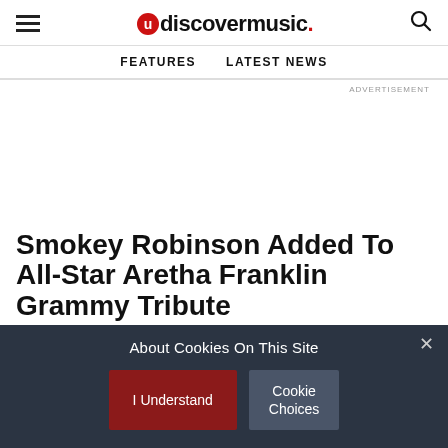uDiscoverMusic
FEATURES   LATEST NEWS
ADVERTISEMENT
Smokey Robinson Added To All-Star Aretha Franklin Grammy Tribute
Smokey Robinson is the latest guest to appear at the
About Cookies On This Site
I Understand
Cookie Choices